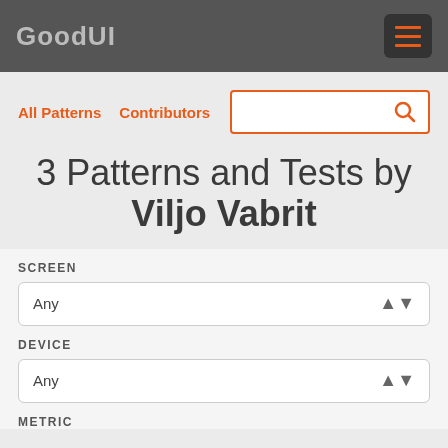GoodUI
All Patterns   Contributors
3 Patterns and Tests by Viljo Vabrit
SCREEN
Any
DEVICE
Any
METRIC